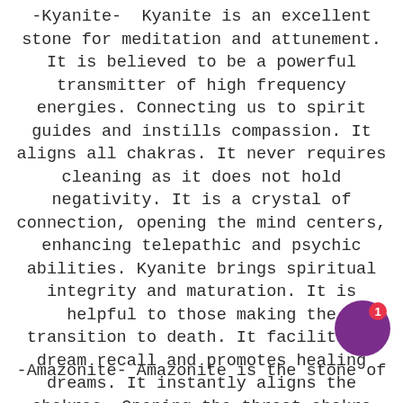-Kyanite-  Kyanite is an excellent stone for meditation and attunement. It is believed to be a powerful transmitter of high frequency energies. Connecting us to spirit guides and instills compassion. It aligns all chakras. It never requires cleaning as it does not hold negativity. It is a crystal of connection, opening the mind centers, enhancing telepathic and psychic abilities. Kyanite brings spiritual integrity and maturation. It is helpful to those making the transition to death. It facilitates dream recall and promotes healing dreams. It instantly aligns the chakras. Opening the throat chakra the stone encourages communication. Kyanite helps dispel confusion, anger, frustration and stress. It treats muscular disorders and relieves pain.
-Amazonite- Amazonite is the stone of...